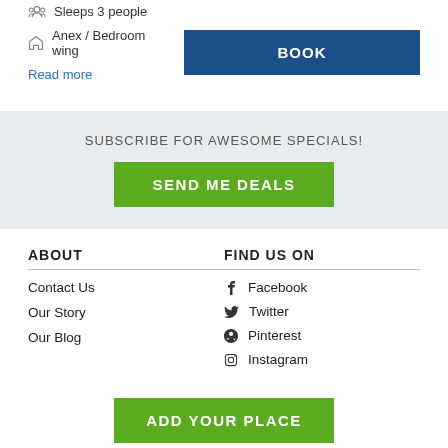Sleeps 3 people
Anex / Bedroom wing
Read more
BOOK
SUBSCRIBE FOR AWESOME SPECIALS!
SEND ME DEALS
ABOUT
Contact Us
Our Story
Our Blog
FIND US ON
Facebook
Twitter
Pinterest
Instagram
ADD YOUR PLACE